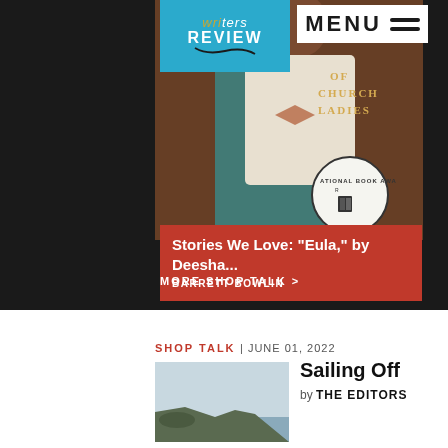[Figure (logo): Writers Review logo on blue background with book icon]
MENU
[Figure (photo): Book cover showing person in bow tie with text 'OF CHURCH LADIES' and National Book Award seal]
Stories We Love: “Eula,” by Deesha...
BARRETT BOWLIN
MORE SHOP TALK >
SHOP TALK | JUNE 01, 2022
[Figure (photo): Coastal landscape with cliffs and water in misty conditions]
Sailing Off
by THE EDITORS